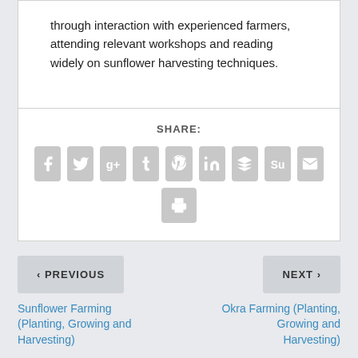through interaction with experienced farmers, attending relevant workshops and reading widely on sunflower harvesting techniques.
SHARE:
[Figure (infographic): Row of social share icon buttons: Facebook, Twitter, Google+, Tumblr, Pinterest, LinkedIn, Buffer, StumbleUpon, Email, and a Print button below center. All icons are light gray rounded squares with white symbols.]
‹ PREVIOUS
NEXT ›
Sunflower Farming (Planting, Growing and Harvesting)
Okra Farming (Planting, Growing and Harvesting)